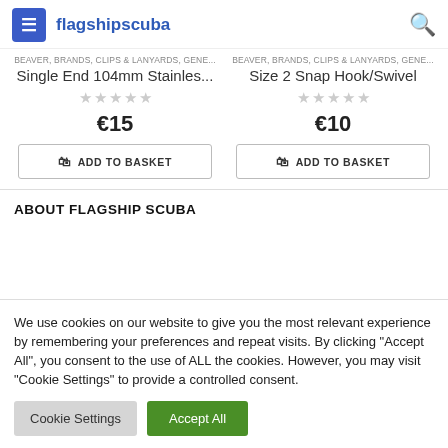flagship scuba
BEAVER, BRANDS, CLIPS & LANYARDS, GENE...
Single End 104mm Stainles...
€15
ADD TO BASKET
BEAVER, BRANDS, CLIPS & LANYARDS, GENE...
Size 2 Snap Hook/Swivel
€10
ADD TO BASKET
ABOUT FLAGSHIP SCUBA
We use cookies on our website to give you the most relevant experience by remembering your preferences and repeat visits. By clicking "Accept All", you consent to the use of ALL the cookies. However, you may visit "Cookie Settings" to provide a controlled consent.